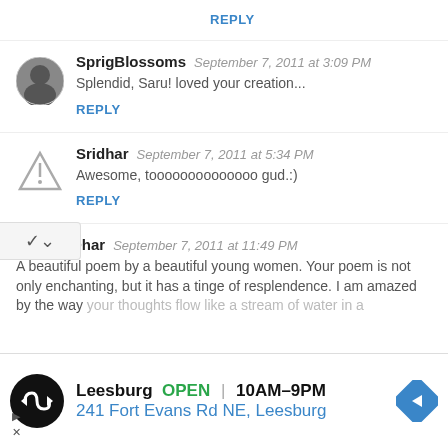REPLY
SprigBlossoms  September 7, 2011 at 3:09 PM
Splendid, Saru! loved your creation...
REPLY
Sridhar  September 7, 2011 at 5:34 PM
Awesome, toooooooooooooo gud.:)
REPLY
Barkha Dhar  September 7, 2011 at 11:49 PM
A beautiful poem by a beautiful young women. Your poem is not only enchanting, but it has a tinge of resplendence. I am amazed by the way your thoughts flow like a stream of water in a
[Figure (infographic): Advertisement banner for Leesburg store: black circular logo with white infinity-like arrow symbol, text showing Leesburg OPEN 10AM-9PM and 241 Fort Evans Rd NE Leesburg in blue, with blue diamond navigation arrow on right]